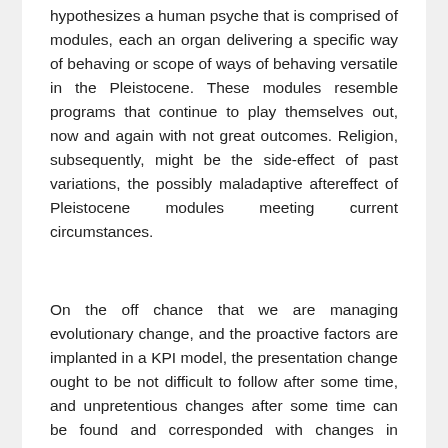hypothesizes a human psyche that is comprised of modules, each an organ delivering a specific way of behaving or scope of ways of behaving versatile in the Pleistocene. These modules resemble programs that continue to play themselves out, now and again with not great outcomes. Religion, subsequently, might be the side-effect of past variations, the possibly maladaptive aftereffect of Pleistocene modules meeting current circumstances.
On the off chance that we are managing evolutionary change, and the proactive factors are implanted in a KPI model, the presentation change ought to be not difficult to follow after some time, and unpretentious changes after some time can be found and corresponded with changes in monetary outcomes. The drivers of little execution changes are recognized and can be built up or killed by the